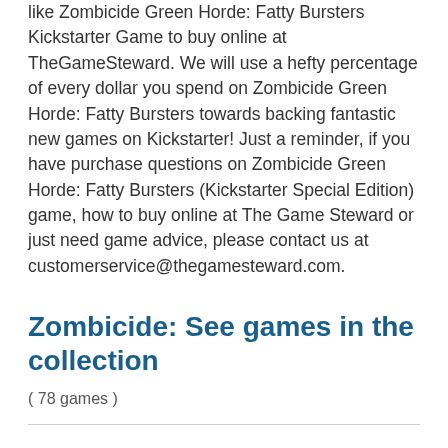like Zombicide Green Horde: Fatty Bursters Kickstarter Game to buy online at TheGameSteward. We will use a hefty percentage of every dollar you spend on Zombicide Green Horde: Fatty Bursters towards backing fantastic new games on Kickstarter! Just a reminder, if you have purchase questions on Zombicide Green Horde: Fatty Bursters (Kickstarter Special Edition) game, how to buy online at The Game Steward or just need game advice, please contact us at customerservice@thegamesteward.com.
Zombicide: See games in the collection
( 78 games )